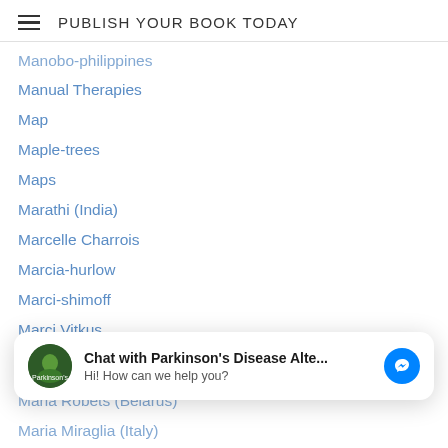PUBLISH YOUR BOOK TODAY
Manobo-philippines
Manual Therapies
Map
Maple-trees
Maps
Marathi (India)
Marcelle Charrois
Marcia-hurlow
Marci-shimoff
Marci Vitkus
Marek-lukaszewicz
Marfans-syndrome
Margaret-lane
Margery Williams
Chat with Parkinson's Disease Alte...
Hi! How can we help you?
Maria Robets (Belarus)
Maria Miraglia (Italy)